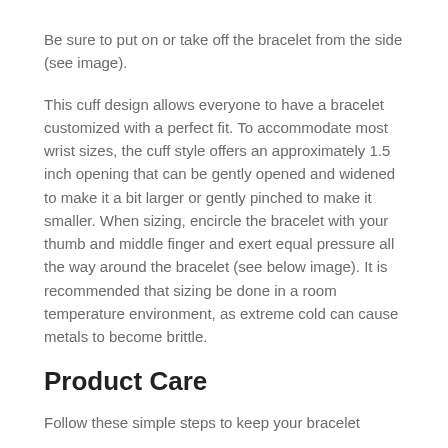Be sure to put on or take off the bracelet from the side (see image).
This cuff design allows everyone to have a bracelet customized with a perfect fit. To accommodate most wrist sizes, the cuff style offers an approximately 1.5 inch opening that can be gently opened and widened to make it a bit larger or gently pinched to make it smaller. When sizing, encircle the bracelet with your thumb and middle finger and exert equal pressure all the way around the bracelet (see below image). It is recommended that sizing be done in a room temperature environment, as extreme cold can cause metals to become brittle.
Product Care
Follow these simple steps to keep your bracelet